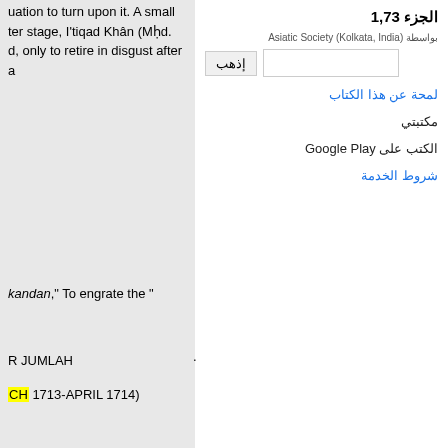uation to turn upon it. A small ter stage, I'tiqad Khân (Mhd. d, only to retire in disgust after a
الجزء 1,73
بواسطة Asiatic Society (Kolkata, India)
إذهب
لمحة عن هذا الكتاب
مكتبتي
الكتب على Google Play
شروط الخدمة
kandan," To engrate the "
R JUMLAH
CH 1713-APRIL 1714)